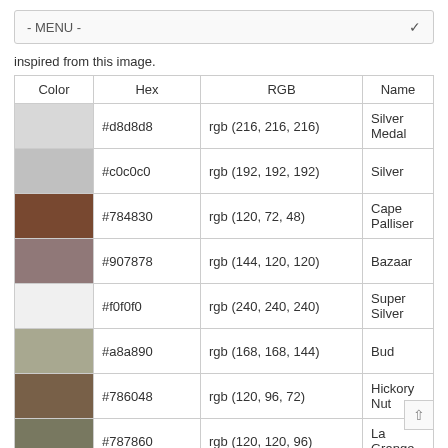- MENU -
inspired from this image.
| Color | Hex | RGB | Name |
| --- | --- | --- | --- |
| [silver-medal swatch] | #d8d8d8 | rgb (216, 216, 216) | Silver Medal |
| [silver swatch] | #c0c0c0 | rgb (192, 192, 192) | Silver |
| [cape-palliser swatch] | #784830 | rgb (120, 72, 48) | Cape Palliser |
| [bazaar swatch] | #907878 | rgb (144, 120, 120) | Bazaar |
| [super-silver swatch] | #f0f0f0 | rgb (240, 240, 240) | Super Silver |
| [bud swatch] | #a8a890 | rgb (168, 168, 144) | Bud |
| [hickory-nut swatch] | #786048 | rgb (120, 96, 72) | Hickory Nut |
| [la-grange swatch] | #787860 | rgb (120, 120, 96) | La Grange |
| [white swatch] | #ffffff | rgb (255, 255, 255) | White |